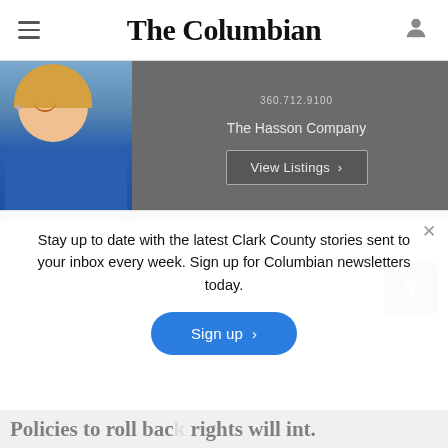The Columbian
[Figure (photo): Advertisement banner for The Hasson Company real estate agent, showing a smiling woman in blue top on dark gray background with 'The Hasson Company' text and 'View Listings >' button]
Stay up to date with the latest Clark County stories sent to your inbox every week. Sign up for Columbian newsletters today.
Sign up >
Policies to roll back rights will int...